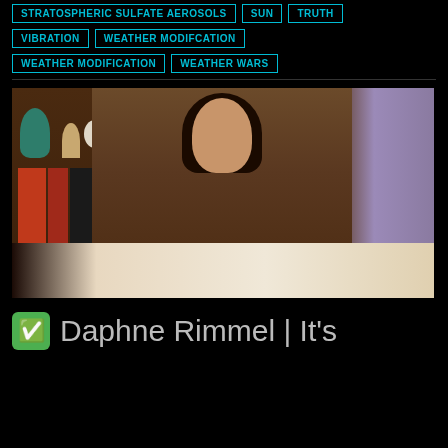STRATOSPHERIC SULFATE AEROSOLS
SUN
TRUTH
VIBRATION
WEATHER MODIFCATION
WEATHER MODIFICATION
WEATHER WARS
[Figure (photo): Woman with dark hair sitting at a desk with an open book, bookshelves visible in background]
✅ Daphne Rimmel | It's